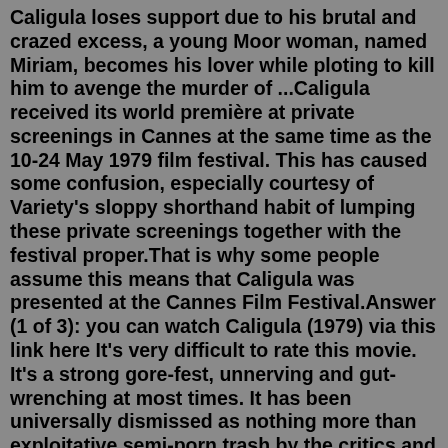Caligula loses support due to his brutal and crazed excess, a young Moor woman, named Miriam, becomes his lover while ploting to kill him to avenge the murder of ...Caligula received its world première at private screenings in Cannes at the same time as the 10-24 May 1979 film festival. This has caused some confusion, especially courtesy of Variety's sloppy shorthand habit of lumping these private screenings together with the festival proper.That is why some people assume this means that Caligula was presented at the Cannes Film Festival.Answer (1 of 3): you can watch Caligula (1979) via this link here It's very difficult to rate this movie. It's a strong gore-fest, unnerving and gut-wrenching at most times. It has been universally dismissed as nothing more than exploitative semi-porn trash by the critics and apparently by most ...Historically accurate to the point of pain, it was a messily decadent orgy with a vomitorium to die for. Italian impressionist director Tinto Brass bared Rome to its decadent core in a way no ...A infamous full love anywhere your start nights